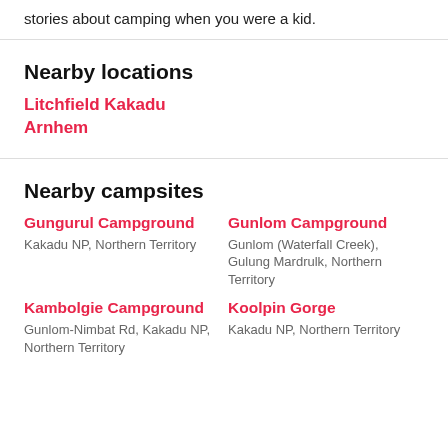stories about camping when you were a kid.
Nearby locations
Litchfield Kakadu Arnhem
Nearby campsites
Gungurul Campground – Kakadu NP, Northern Territory
Gunlom Campground – Gunlom (Waterfall Creek), Gulung Mardrulk, Northern Territory
Kambolgie Campground – Gunlom-Nimbat Rd, Kakadu NP, Northern Territory
Koolpin Gorge – Kakadu NP, Northern Territory